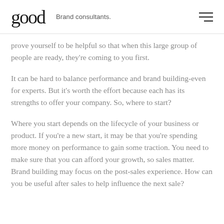good   Brand consultants.
prove yourself to be helpful so that when this large group of people are ready, they're coming to you first.
It can be hard to balance performance and brand building-even for experts. But it's worth the effort because each has its strengths to offer your company. So, where to start?
Where you start depends on the lifecycle of your business or product. If you're a new start, it may be that you're spending more money on performance to gain some traction. You need to make sure that you can afford your growth, so sales matter. Brand building may focus on the post-sales experience. How can you be useful after sales to help influence the next sale?